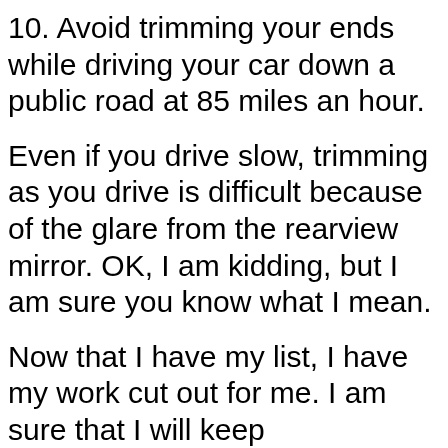10. Avoid trimming your ends while driving your car down a public road at 85 miles an hour.
Even if you drive slow, trimming as you drive is difficult because of the glare from the rearview mirror. OK, I am kidding, but I am sure you know what I mean.
Now that I have my list, I have my work cut out for me. I am sure that I will keep